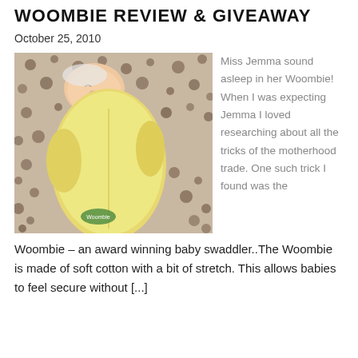WOOMBIE REVIEW & GIVEAWAY
October 25, 2010
[Figure (photo): A newborn baby swaddled in a yellow Woombie swaddler, sleeping on a patterned fabric with brown and white design.]
Miss Jemma sound asleep in her Woombie! When I was expecting Jemma I loved researching about all the tricks of the motherhood trade. One such trick I found was the Woombie – an award winning baby swaddler..The Woombie is made of soft cotton with a bit of stretch. This allows babies to feel secure without [...]